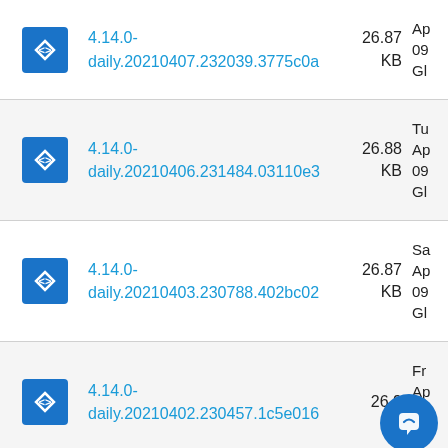4.14.0-daily.20210407.232039.3775c0a | 26.87 KB | Ap 09 Gl
4.14.0-daily.20210406.231484.03110e3 | 26.88 KB | Tu Ap 09 Gl
4.14.0-daily.20210403.230788.402bc02 | 26.87 KB | Sa Ap 09 Gl
4.14.0-daily.20210402.230457.1c5e016 | 26.9 KB | Fr Ap 09 Gl